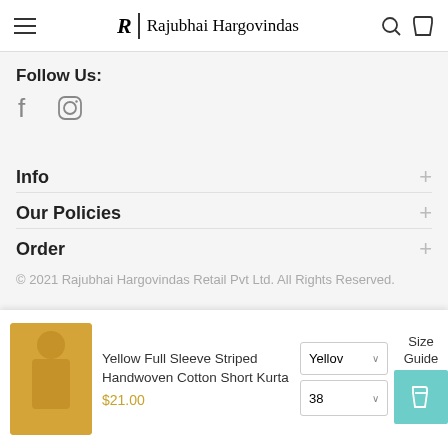Rajubhai Hargovindas
Follow Us:
Facebook, Instagram social icons
Info
Our Policies
Order
© 2021 Rajubhai Hargovindas Retail Pvt Ltd. All Rights Reserved.
[Figure (logo): Payment method logos: VISA, Mastercard, DISCOVER, AMERICAN EXPRESS]
Yellow Full Sleeve Striped Handwoven Cotton Short Kurta $21.00, color: Yellow, size: 38, Size Guide